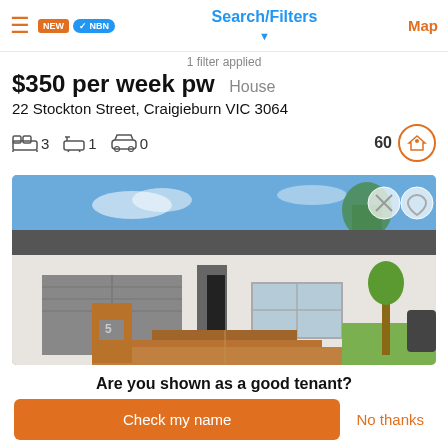Search/Filters | Map
1 filter applied
$350 per week pw   House
22 Stockton Street, Craigieburn VIC 3064
3 beds  1 bath  0 cars  60
[Figure (photo): Exterior photo of a modern single-storey house with grey roof, white walls, grey garage door, and timber deck entrance, blue sky background]
Are you shown as a good tenant?
Check my name
No thanks